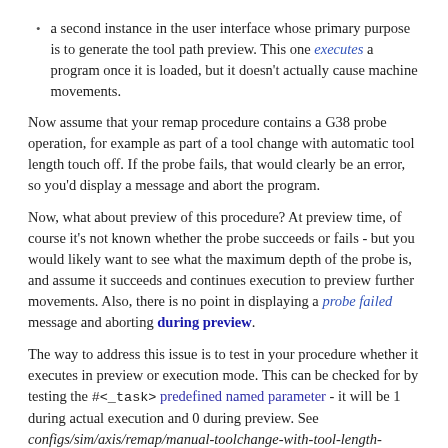a second instance in the user interface whose primary purpose is to generate the tool path preview. This one executes a program once it is loaded, but it doesn't actually cause machine movements.
Now assume that your remap procedure contains a G38 probe operation, for example as part of a tool change with automatic tool length touch off. If the probe fails, that would clearly be an error, so you'd display a message and abort the program.
Now, what about preview of this procedure? At preview time, of course it's not known whether the probe succeeds or fails - but you would likely want to see what the maximum depth of the probe is, and assume it succeeds and continues execution to preview further movements. Also, there is no point in displaying a probe failed message and aborting during preview.
The way to address this issue is to test in your procedure whether it executes in preview or execution mode. This can be checked for by testing the #<_task> predefined named parameter - it will be 1 during actual execution and 0 during preview. See configs/sim/axis/remap/manual-toolchange-with-tool-length-switch/nc_subroutines/manual_change.ngc for a complete usage example.
Within Embedded Python, that is in a remap handler...